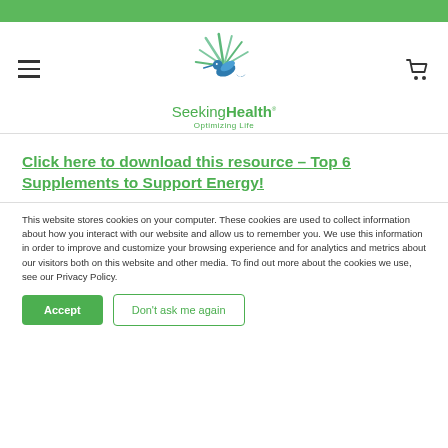[Figure (logo): Seeking Health hummingbird logo with green bird and spiky leaves, with text 'SeekingHealth Optimizing Life']
Click here to download this resource – Top 6 Supplements to Support Energy!
This website stores cookies on your computer. These cookies are used to collect information about how you interact with our website and allow us to remember you. We use this information in order to improve and customize your browsing experience and for analytics and metrics about our visitors both on this website and other media. To find out more about the cookies we use, see our Privacy Policy.
Accept | Don't ask me again